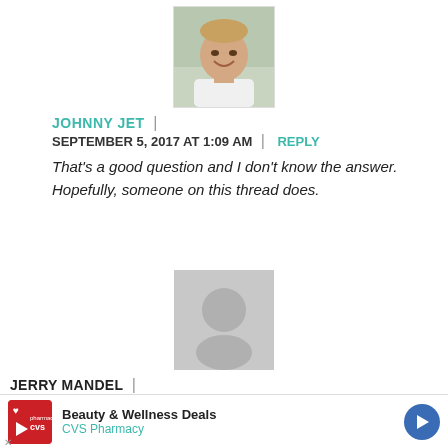[Figure (photo): Profile photo of Johnny Jet, a smiling man in a white shirt, square crop]
JOHNNY JET | SEPTEMBER 5, 2017 AT 1:09 AM | REPLY
That's a good question and I don't know the answer. Hopefully, someone on this thread does.
[Figure (illustration): Default grey avatar placeholder silhouette]
JERRY MANDEL | SEPTEMBER 29, 2017 AT 8:09 PM | REPLY
I can find no other bank besides B of A which has ... their ATM...s
[Figure (other): CVS Pharmacy advertisement banner: Beauty & Wellness Deals]